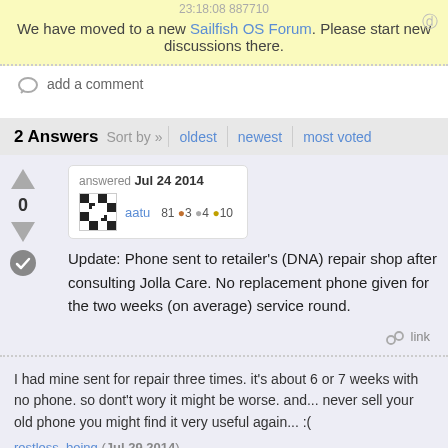We have moved to a new Sailfish OS Forum. Please start new discussions there.
add a comment
2 Answers  Sort by »  oldest  newest  most voted
answered Jul 24 2014
aatu  81 ●3 ●4 ●10
Update: Phone sent to retailer's (DNA) repair shop after consulting Jolla Care. No replacement phone given for the two weeks (on average) service round.
link
I had mine sent for repair three times. it's about 6 or 7 weeks with no phone. so dont't wory it might be worse. and... never sell your old phone you might find it very useful again... :(

restless_being (Jul 29 2014)